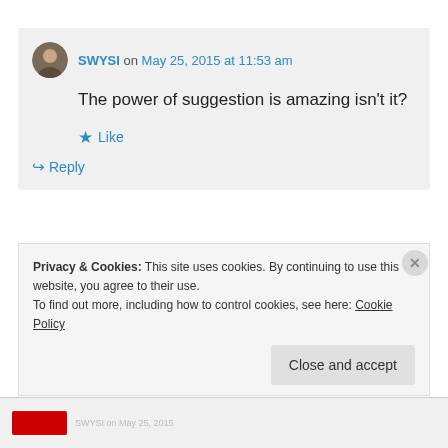SWYSI on May 25, 2015 at 11:53 am
The power of suggestion is amazing isn't it?
Like
Reply
Privacy & Cookies: This site uses cookies. By continuing to use this website, you agree to their use.
To find out more, including how to control cookies, see here: Cookie Policy
Close and accept